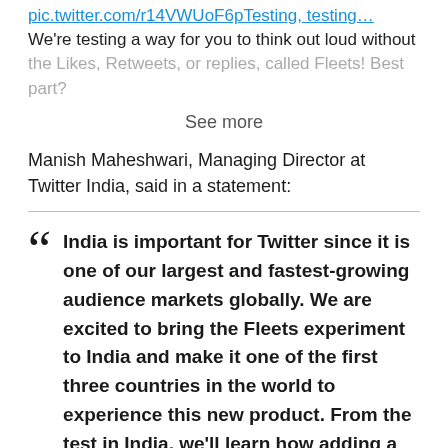pic.twitter.com/r14VWUoF6pTesting, testing… We're testing a way for you to think out loud without the Likes, Retweets, or replies, called Fleets! Best part?
See more
Manish Maheshwari, Managing Director at Twitter India, said in a statement:
India is important for Twitter since it is one of our largest and fastest-growing audience markets globally. We are excited to bring the Fleets experiment to India and make it one of the first three countries in the world to experience this new product. From the test in India, we'll learn how adding a new mode of